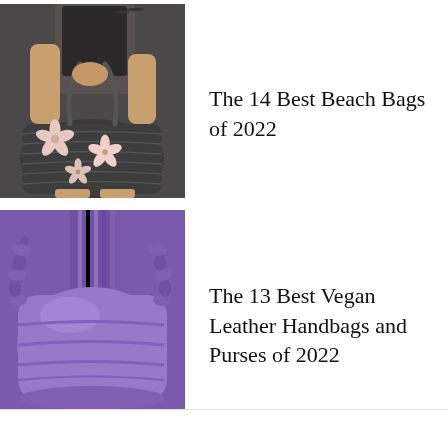[Figure (photo): Person holding a dark gray floral beach tote bag with pink and white flower patterns, wearing a black swimsuit]
The 14 Best Beach Bags of 2022
[Figure (photo): Close-up of a purple vegan leather handbag with chunky braided chain handles, held against a purple ribbed knit sweater background]
The 13 Best Vegan Leather Handbags and Purses of 2022